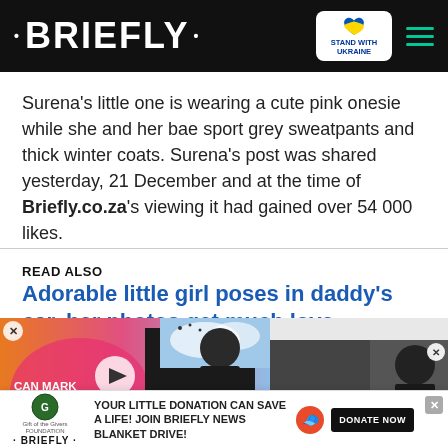• BRIEFLY •
Surena's little one is wearing a cute pink onesie while she and her bae sport grey sweatpants and thick winter coats. Surena's post was shared yesterday, 21 December and at the time of Briefly.co.za's viewing it had gained over 54 000 likes.
READ ALSO
Adorable little girl poses in daddy's car, her photos get much love
[Figure (screenshot): Video advertisement popup showing a man in black shirt with text 'CAN MARK HAVE IT ALL?' and a play button overlay]
[Figure (screenshot): Small video thumbnail with Briefly logo overlay and red chevron button]
[Figure (infographic): Donation banner: Gift of the Givers / Briefly logo, text 'YOUR LITTLE DONATION CAN SAVE A LIFE! JOIN BRIEFLY NEWS BLANKET DRIVE!', DONATE NOW button]